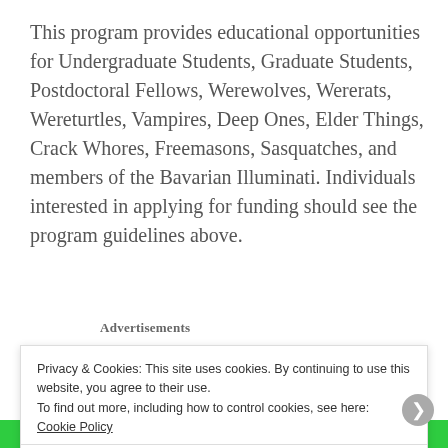This program provides educational opportunities for Undergraduate Students, Graduate Students, Postdoctoral Fellows, Werewolves, Wererats, Wereturtles, Vampires, Deep Ones, Elder Things, Crack Whores, Freemasons, Sasquatches, and members of the Bavarian Illuminati. Individuals interested in applying for funding should see the program guidelines above.
Advertisements
[Figure (other): Automattic advertisement banner with logo partially visible]
Privacy & Cookies: This site uses cookies. By continuing to use this website, you agree to their use.
To find out more, including how to control cookies, see here: Cookie Policy
Close and accept